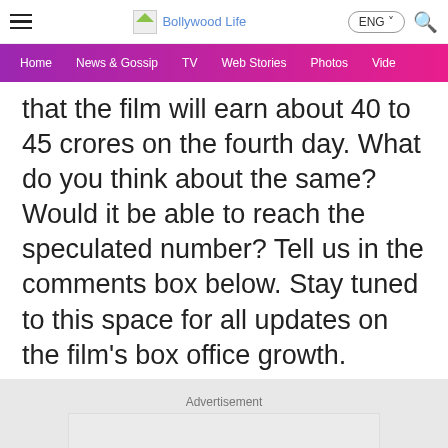Bollywood Life — ENG — [hamburger menu] [search]
Home | News & Gossip | TV | Web Stories | Photos | Video
that the film will earn about 40 to 45 crores on the fourth day. What do you think about the same? Would it be able to reach the speculated number? Tell us in the comments box below. Stay tuned to this space for all updates on the film's box office growth.
Advertisement